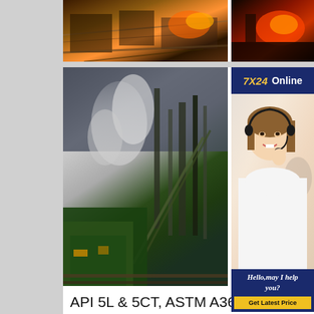[Figure (photo): Steel mill factory floor with industrial equipment, top-left image]
[Figure (photo): Dark red/orange industrial scene, top-right image]
[Figure (photo): Steel mill with green machinery, smoke, and industrial structures]
[Figure (photo): Customer service representative with headset, 7X24 Online banner, Hello may I help you, Get Latest Price button]
API 5L & 5CT, ASTM A36, A283, A516, A572, A573 Steel Plate
API & ASTM Carbon Steel Plate . Thickness 0.4mm to 80mm. Width 1000mm to 3400mm. Length to 18m,